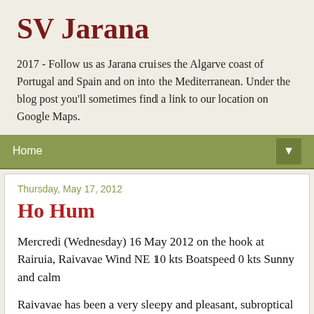SV Jarana
2017 - Follow us as Jarana cruises the Algarve coast of Portugal and Spain and on into the Mediterranean. Under the blog post you'll sometimes find a link to our location on Google Maps.
Home ▼
Thursday, May 17, 2012
Ho Hum
Mercredi (Wednesday) 16 May 2012 on the hook at Rairuia, Raivavae Wind NE 10 kts Boatspeed 0 kts Sunny and calm
Raivavae has been a very sleepy and pleasant, subroptical port of call.
Not much seems to happen around here. There are no hotels, bars, or restaurants. There are a 3 villages, a couple pensions, 3 stores, 4 churches and a post office. It's a good